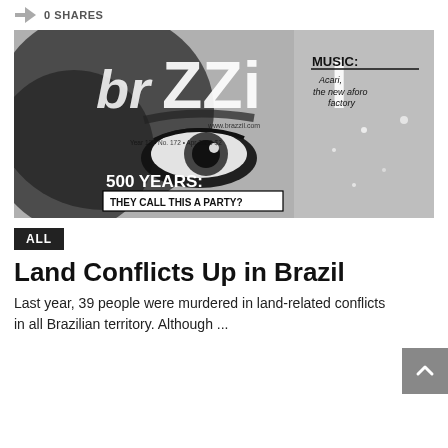0 SHARES
[Figure (photo): Black and white magazine cover of 'brazzil' magazine. Year 12, No. 172, April 2000. Features a close-up black and white photo of a person's face/eye. Text includes: MUSIC: Acari, the new aforo factory. 500 YEARS: THEY CALL THIS A PARTY? www.brazzil.com]
ALL
Land Conflicts Up in Brazil
Last year, 39 people were murdered in land-related conflicts in all Brazilian territory. Although ...